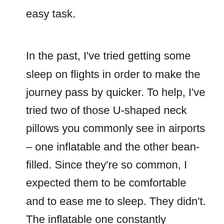easy task.
In the past, I've tried getting some sleep on flights in order to make the journey pass by quicker. To help, I've tried two of those U-shaped neck pillows you commonly see in airports – one inflatable and the other bean-filled. Since they're so common, I expected them to be comfortable and to ease me to sleep. They didn't. The inflatable one constantly deflated, while the bean-filled variety made me feel like I was wearing a neck